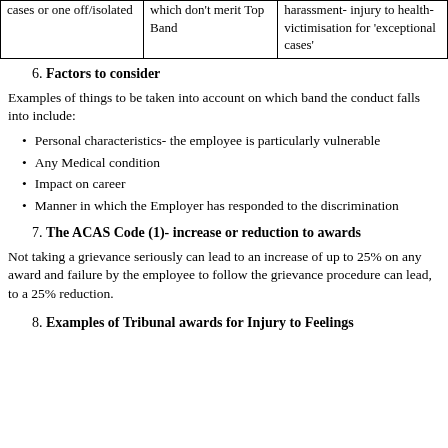|  |  |  |
| --- | --- | --- |
| cases or one off/isolated | which don't merit Top Band | harassment- injury to health- victimisation for 'exceptional cases' |
6. Factors to consider
Examples of things to be taken into account on which band the conduct falls into include:
Personal characteristics- the employee is particularly vulnerable
Any Medical condition
Impact on career
Manner in which the Employer has responded to the discrimination
7. The ACAS Code (1)- increase or reduction to awards
Not taking a grievance seriously can lead to an increase of up to 25% on any award and failure by the employee to follow the grievance procedure can lead, to a 25% reduction.
8. Examples of Tribunal awards for Injury to Feelings